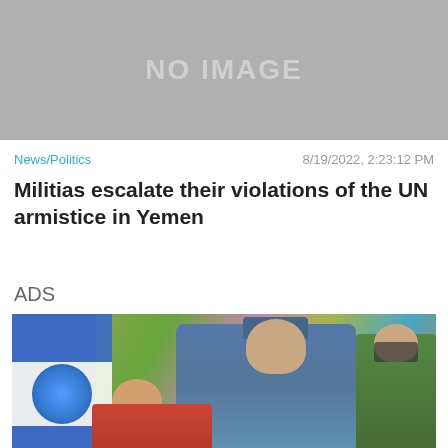[Figure (photo): Gray placeholder box with 'NO IMAGE' text]
News/Politics
8/19/2022, 2:23:12 PM
Militias escalate their violations of the UN armistice in Yemen
ADS
[Figure (photo): Photo of a man in a blue cap and jacket speaking into a microphone, with a woman and soldier beside him, flowers in background, Nicaragua flag visible. Advertisement overlay with BitLife banner at bottom showing 'FAIL' and 'START A NEW LIFE'. Close X button visible.]